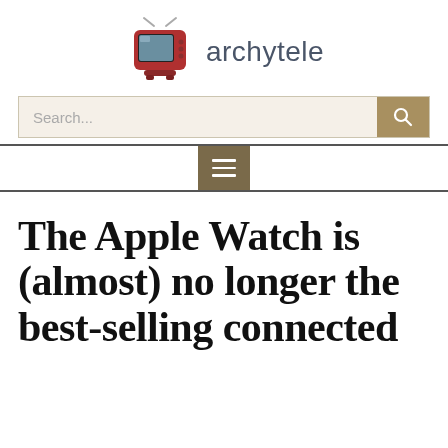archytele
The Apple Watch is (almost) no longer the best-selling connected